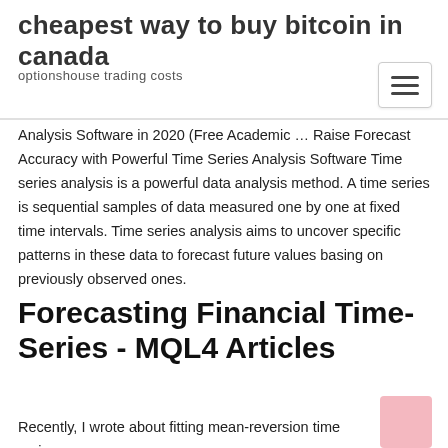cheapest way to buy bitcoin in canada
optionshouse trading costs
Analysis Software in 2020 (Free Academic … Raise Forecast Accuracy with Powerful Time Series Analysis Software Time series analysis is a powerful data analysis method. A time series is sequential samples of data measured one by one at fixed time intervals. Time series analysis aims to uncover specific patterns in these data to forecast future values basing on previously observed ones.
Forecasting Financial Time-Series - MQL4 Articles
Recently, I wrote about fitting mean-reversion time series